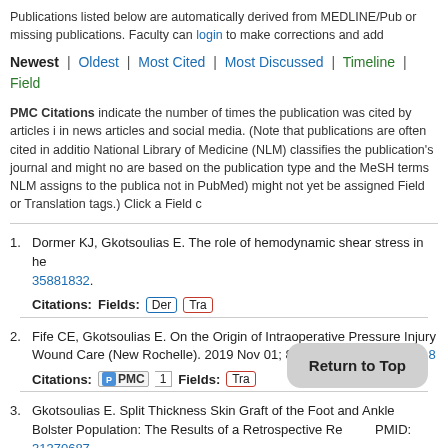Publications listed below are automatically derived from MEDLINE/Pub or missing publications. Faculty can login to make corrections and add
Newest | Oldest | Most Cited | Most Discussed | Timeline | Field
PMC Citations indicate the number of times the publication was cited by articles in news articles and social media. (Note that publications are often cited in addition National Library of Medicine (NLM) classifies the publication's journal and might no are based on the publication type and the MeSH terms NLM assigns to the publica not in PubMed) might not yet be assigned Field or Translation tags.) Click a Field c
1. Dormer KJ, Gkotsoulias E. The role of hemodynamic shear stress in he 35881832. Citations: Fields: Der Tra
2. Fife CE, Gkotsoulias E. On the Origin of Intraoperative Pressure Injury Wound Care (New Rochelle). 2019 Nov 01; 8(11):580-584. PMID: 318 Citations: PMC 1 Fields: Tra
3. Gkotsoulias E. Split Thickness Skin Graft of the Foot and Ankle Bolster Population: The Results of a Retrospective Re f the PMID: 31370687. Citations: PMC 4 Fields: Ort Pod Translation: Huma